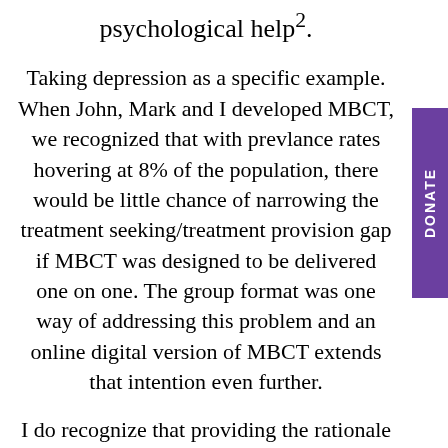psychological help².
Taking depression as a specific example. When John, Mark and I developed MBCT, we recognized that with prevlance rates hovering at 8% of the population, there would be little chance of narrowing the treatment seeking/treatment provision gap if MBCT was designed to be delivered one on one. The group format was one way of addressing this problem and an online digital version of MBCT extends that intention even further.
I do recognize that providing the rationale for digitizing MBCT may not fully alleviate concerns about poaching patients from one’s clinical practice. If we look at the evidence from online CBT, however, it seems that this